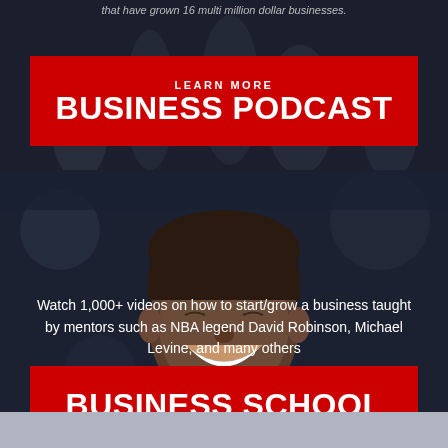that have grown 16 multi million dollar businesses.
[Figure (photo): Dark background with blurred crowd/business people in background, red banner overlay for Business Podcast]
LEARN MORE
BUSINESS PODCAST
[Figure (photo): Smiling Black man in suit against dark blurred background]
Watch 1,000+ videos on how to start/grow a business taught by mentors such as NBA legend David Robinson, Michael Levine, and many others
BUSINESS SCHOOL
LEARN MORE